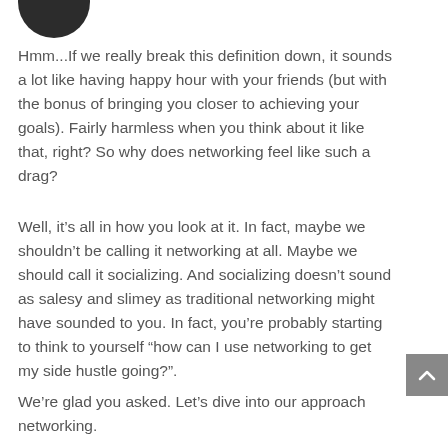[Figure (photo): Partial view of a circular avatar/profile picture showing a dark silhouette, cropped at the top of the page]
Hmm...If we really break this definition down, it sounds a lot like having happy hour with your friends (but with the bonus of bringing you closer to achieving your goals). Fairly harmless when you think about it like that, right? So why does networking feel like such a drag?
Well, it’s all in how you look at it. In fact, maybe we shouldn’t be calling it networking at all. Maybe we should call it socializing. And socializing doesn’t sound as salesy and slimey as traditional networking might have sounded to you. In fact, you’re probably starting to think to yourself “how can I use networking to get my side hustle going?”.
We’re glad you asked. Let’s dive into our approach networking.